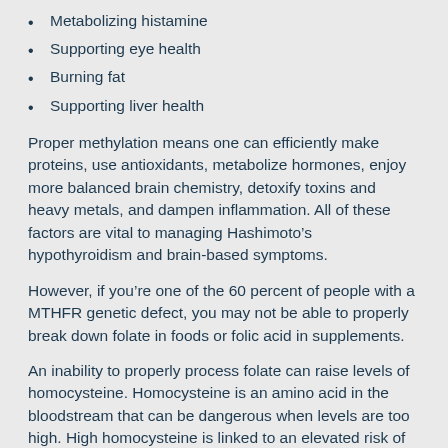Metabolizing histamine
Supporting eye health
Burning fat
Supporting liver health
Proper methylation means one can efficiently make proteins, use antioxidants, metabolize hormones, enjoy more balanced brain chemistry, detoxify toxins and heavy metals, and dampen inflammation. All of these factors are vital to managing Hashimoto’s hypothyroidism and brain-based symptoms.
However, if you’re one of the 60 percent of people with a MTHFR genetic defect, you may not be able to properly break down folate in foods or folic acid in supplements.
An inability to properly process folate can raise levels of homocysteine. Homocysteine is an amino acid in the bloodstream that can be dangerous when levels are too high. High homocysteine is linked to an elevated risk of heart disease and Alzheimer’s.
Poor methylation also impacts another vital process — the